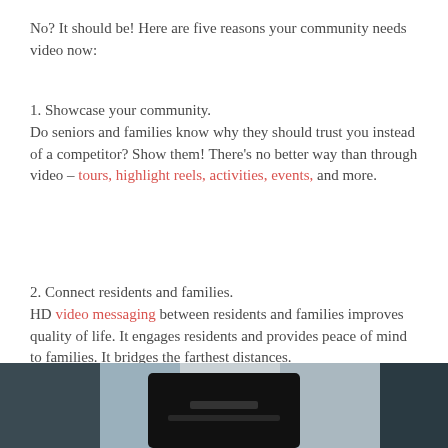No? It should be! Here are five reasons your community needs video now:
1. Showcase your community.
Do seniors and families know why they should trust you instead of a competitor? Show them! There’s no better way than through video – tours, highlight reels, activities, events, and more.
2. Connect residents and families.
HD video messaging between residents and families improves quality of life. It engages residents and provides peace of mind to families. It bridges the farthest distances.
[Figure (photo): Partial photo of a video camera or webcam device, bottom of the page]